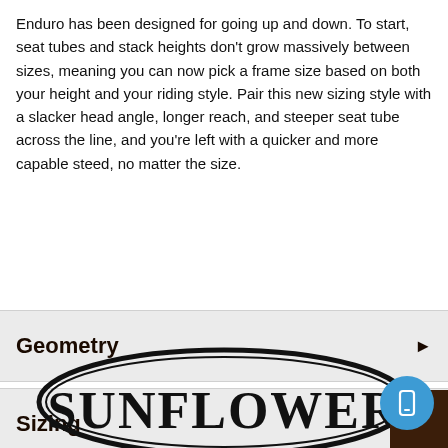Enduro has been designed for going up and down. To start, seat tubes and stack heights don't grow massively between sizes, meaning you can now pick a frame size based on both your height and your riding style. Pair this new sizing style with a slacker head angle, longer reach, and steeper seat tube across the line, and you're left with a quicker and more capable steed, no matter the size.
Geometry
Sizing
[Figure (logo): Sunflower Outdoor & Bike logo — oval black border with SUNFLOWER text in large serif font]